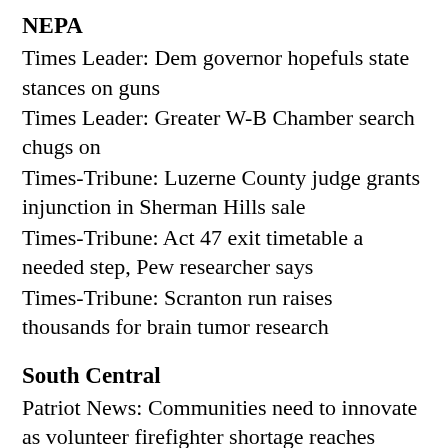NEPA
Times Leader: Dem governor hopefuls state stances on guns
Times Leader: Greater W-B Chamber search chugs on
Times-Tribune: Luzerne County judge grants injunction in Sherman Hills sale
Times-Tribune: Act 47 exit timetable a needed step, Pew researcher says
Times-Tribune: Scranton run raises thousands for brain tumor research
South Central
Patriot News: Communities need to innovate as volunteer firefighter shortage reaches crisis levels
Patriot News: House Democrats, union say not so fast on plan for full liquor privatization in